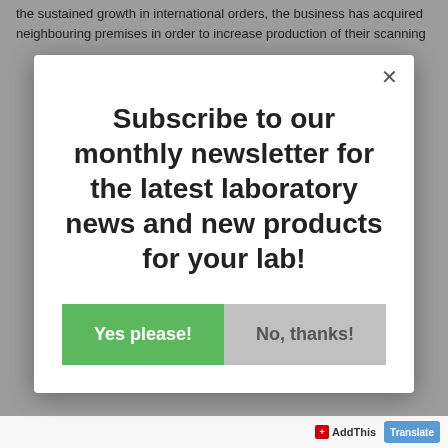the sustained growth in international orders, the business has acquired neighbouring premises in order to increase production of their scanning
Subscribe to our monthly newsletter for the latest laboratory news and new products for your lab!
Yes please!
No, thanks!
AddThis  Translate